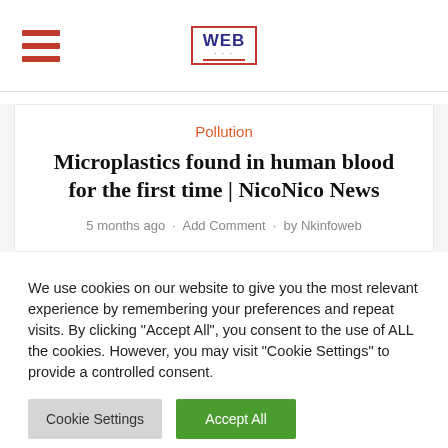WEB [logo with hamburger menu]
Pollution
Microplastics found in human blood for the first time | NicoNico News
5 months ago · Add Comment · by Nkinfoweb
We use cookies on our website to give you the most relevant experience by remembering your preferences and repeat visits. By clicking "Accept All", you consent to the use of ALL the cookies. However, you may visit "Cookie Settings" to provide a controlled consent.